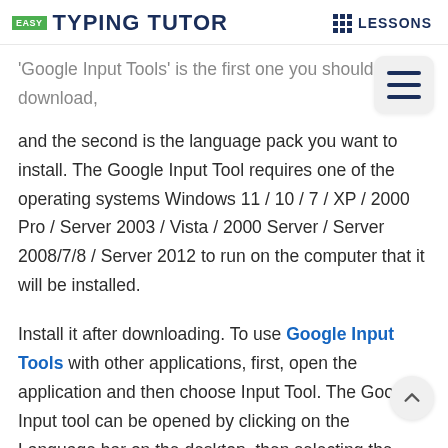EASY TYPING TUTOR   LESSONS
'Google Input Tools' is the first one you should download, and the second is the language pack you want to install. The Google Input Tool requires one of the operating systems Windows 11 / 10 / 7 / XP / 2000 Pro / Server 2003 / Vista / 2000 Server / Server 2008/7/8 / Server 2012 to run on the computer that it will be installed.
Install it after downloading. To use Google Input Tools with other applications, first, open the application and then choose Input Tool. The Google Input tool can be opened by clicking on the Language bar on the desktop, then selecting the input tool language icon. Alternatively, the input to can be enabled using the shortcut key if it has been